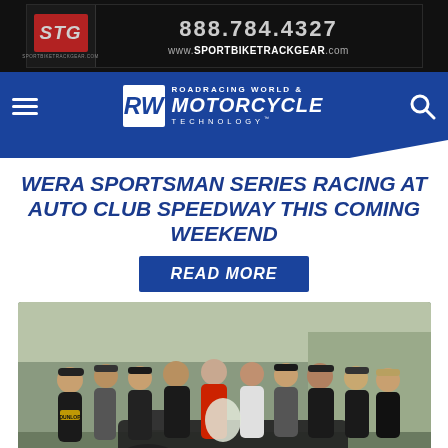[Figure (screenshot): STG Sportbike Track Gear advertisement banner showing logo, phone number 888.784.4327 and website www.SPORTBIKETRACKGEAR.com]
[Figure (logo): Roadracing World & Motorcycle Technology navigation bar with hamburger menu and search icon]
WERA SPORTSMAN SERIES RACING AT AUTO CLUB SPEEDWAY THIS COMING WEEKEND
READ MORE
[Figure (photo): Group photo of approximately 10 people posing together, some in racing gear and motorcycle jackets, with a motorcycle in the foreground. Outdoor setting at a racing event.]